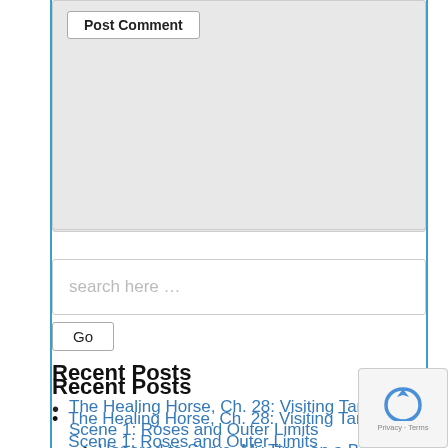[Figure (screenshot): Post Comment button inside a gray comment box area]
[Figure (screenshot): Search input field with placeholder text 'search here ...']
[Figure (screenshot): Go button below search field]
Recent Posts
The Healing Horse, Ch. 28: Visiting Tammy, Scene 1: Roses and Outer Limits
Honored to Serve–My Time on a Board
The Healing Horse, Ch. 27, Scene 10: Horseshoes Don't Have Shoelaces
The Healing Horse, Ch. 27, Scene 9: